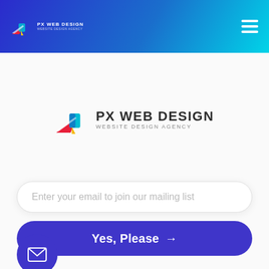PX Web Design — Website Design Agency
[Figure (logo): PX Web Design logo with paper airplane icon and text PX WEB DESIGN / WEBSITE DESIGN AGENCY, centered on white background]
Enter your email to join our mailing list
Yes, Please →